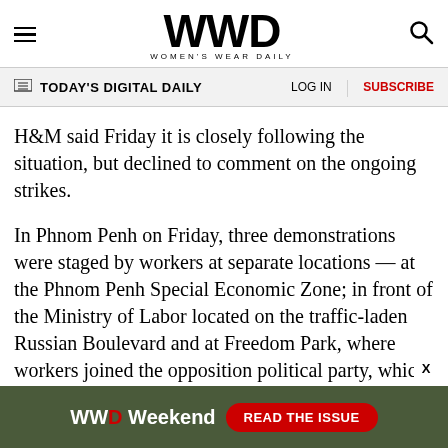WWD — WOMEN'S WEAR DAILY
TODAY'S DIGITAL DAILY   LOG IN   SUBSCRIBE
H&M said Friday it is closely following the situation, but declined to comment on the ongoing strikes.
In Phnom Penh on Friday, three demonstrations were staged by workers at separate locations — at the Phnom Penh Special Economic Zone; in front of the Ministry of Labor located on the traffic-laden Russian Boulevard and at Freedom Park, where workers joined the opposition political party, which has been contesting Prime Minister
[Figure (infographic): WWD Weekend advertisement banner with 'READ THE ISSUE' button on dark green background]